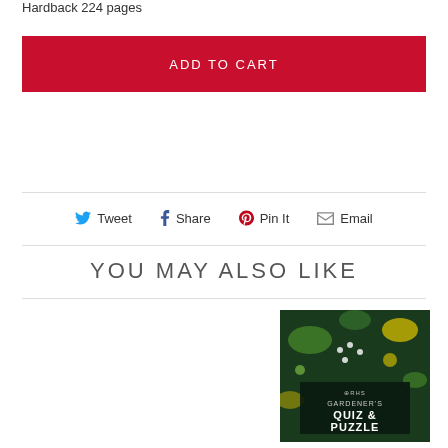Hardback 224 pages
ADD TO CART
Tweet  Share  Pin It  Email
YOU MAY ALSO LIKE
[Figure (photo): Book cover: RHS Gardener's Quiz & Puzzle book with botanical illustration on dark background]